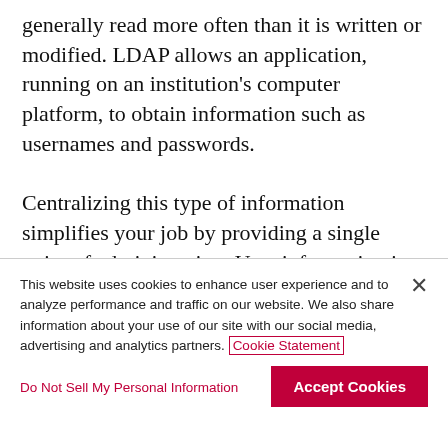generally read more often than it is written or modified. LDAP allows an application, running on an institution's computer platform, to obtain information such as usernames and passwords.

Centralizing this type of information simplifies your job by providing a single point of administration. User information is provided in a single location, reducing the storage of duplicate information. This, in turn, reduces maintenance needs. LDAP authentication also enables users to have a single login and password to access a
This website uses cookies to enhance user experience and to analyze performance and traffic on our website. We also share information about your use of our site with our social media, advertising and analytics partners. Cookie Statement
Do Not Sell My Personal Information
Accept Cookies